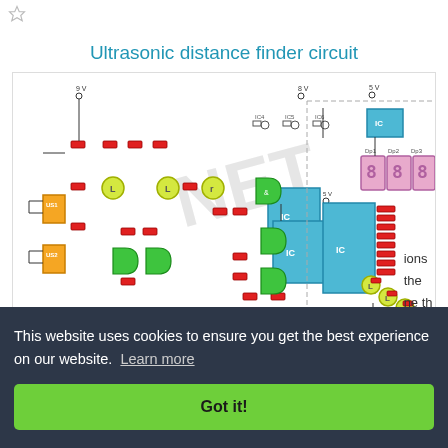Ultrasonic distance finder circuit
[Figure (circuit-diagram): Ultrasonic distance finder circuit schematic showing multiple ICs, logic gates (green), resistors (red), capacitors, orange transducers (US1, US2), a blue microcontroller/timer IC, a large blue counter IC, red LED bar segments connected to a large blue decoder IC, and three 7-segment displays (purple/pink) on the right side. Labeled components include IC4, IC5, IC6, and various passive components. Power rails at 5V and 9V are shown.]
This website uses cookies to ensure you get the best experience on our website.  Learn more
Got it!
ions
the
ne th
wave